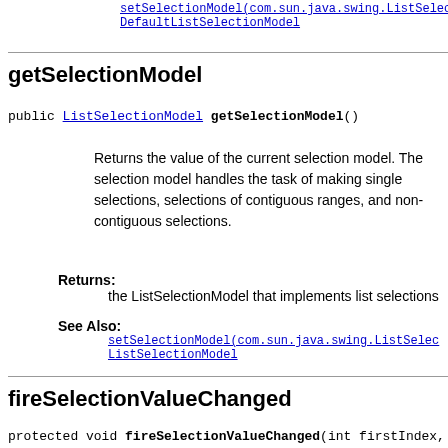setSelectionModel(com.sun.java.swing.ListSelec... DefaultListSelectionModel
getSelectionModel
public ListSelectionModel getSelectionModel()
Returns the value of the current selection model. The selection model handles the task of making single selections, selections of contiguous ranges, and non-contiguous selections.
Returns: the ListSelectionModel that implements list selections
See Also: setSelectionModel(com.sun.java.swing.ListSelec... ListSelectionModel
fireSelectionValueChanged
protected void fireSelectionValueChanged(int firstIndex, int lastIndex, boolean isAdju...